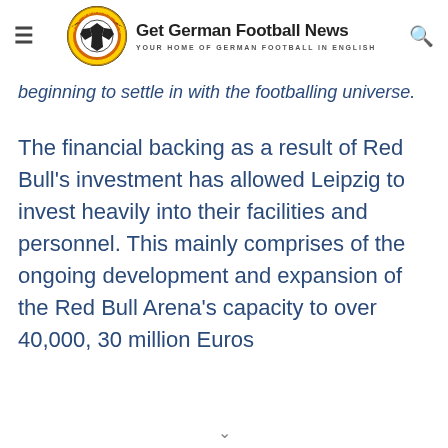Get German Football News — YOUR HOME OF GERMAN FOOTBALL IN ENGLISH
beginning to settle in with the footballing universe.
The financial backing as a result of Red Bull's investment has allowed Leipzig to invest heavily into their facilities and personnel. This mainly comprises of the ongoing development and expansion of the Red Bull Arena's capacity to over 40,000, 30 million Euros